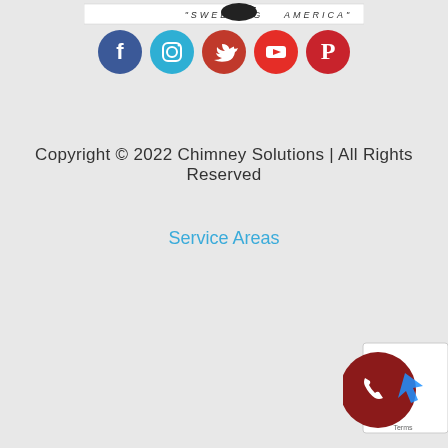[Figure (logo): Chimney Solutions logo with text 'SWEEPING AMERICA']
[Figure (illustration): Row of 5 social media icon circles: Facebook (dark blue), Instagram (light blue), Twitter (dark red), YouTube (red), Pinterest (red)]
Copyright © 2022 Chimney Solutions | All Rights Reserved
Service Areas
[Figure (illustration): Dark red circular phone call button in bottom-right corner with white phone icon]